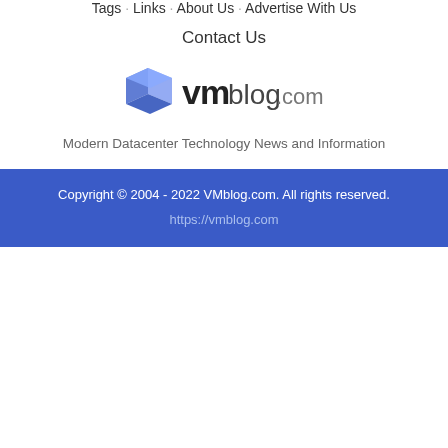Tags · Links · About Us · Advertise With Us
Contact Us
[Figure (logo): VMblog.com logo with blue cube icon and 'vmblog.com' text]
Modern Datacenter Technology News and Information
Copyright © 2004 - 2022 VMblog.com. All rights reserved. https://vmblog.com